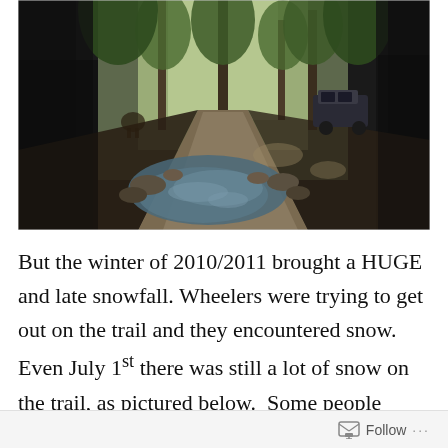[Figure (photo): Outdoor forest trail scene with tall pine/fir trees, a vehicle parked on a dirt road in the background, and a rocky stream or muddy water crossing in the foreground. The scene is shadowed with dappled light, suggesting a mountain forest environment.]
But the winter of 2010/2011 brought a HUGE and late snowfall. Wheelers were trying to get out on the trail and they encountered snow. Even July 1st there was still a lot of snow on the trail, as pictured below.  Some people couldn't make it over the
Follow